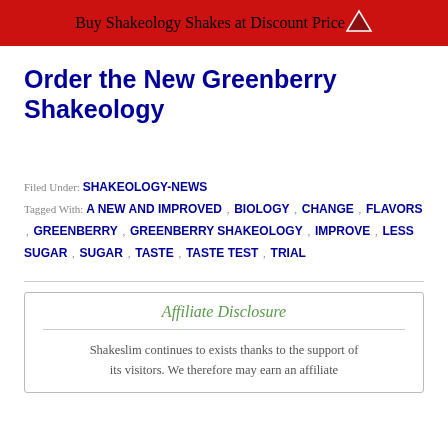Buy Shakeology Shakes at Discount Price
Order the New Greenberry Shakeology
Filed Under: SHAKEOLOGY-NEWS
Tagged With: A NEW AND IMPROVED , BIOLOGY , CHANGE , FLAVORS , GREENBERRY , GREENBERRY SHAKEOLOGY , IMPROVE , LESS SUGAR , SUGAR , TASTE , TASTE TEST , TRIAL
Affiliate Disclosure
Shakeslim continues to exists thanks to the support of its visitors. We therefore may earn an affiliate